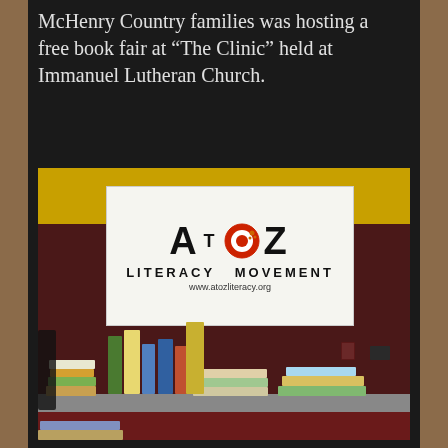McHenry Country families was hosting a free book fair at “The Clinic” held at Immanuel Lutheran Church.
[Figure (photo): Photo of an A to Z Literacy Movement banner hanging on a dark maroon wall with a yellow stripe. Below the banner is a table covered with various books spread out for a free book fair at The Clinic held at Immanuel Lutheran Church.]